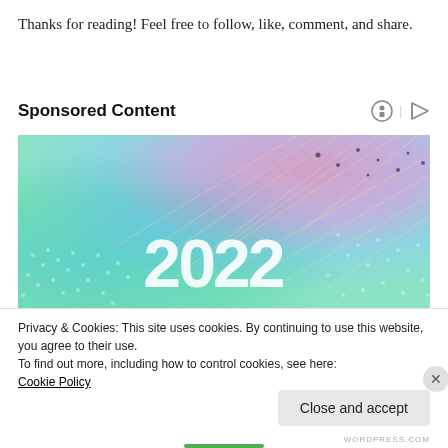Thanks for reading! Feel free to follow, like, comment, and share.
Sponsored Content
[Figure (illustration): Colorful abstract 2022 advertisement banner with rainbow light burst pattern and large text '2022']
Privacy & Cookies: This site uses cookies. By continuing to use this website, you agree to their use.
To find out more, including how to control cookies, see here:
Cookie Policy
Close and accept